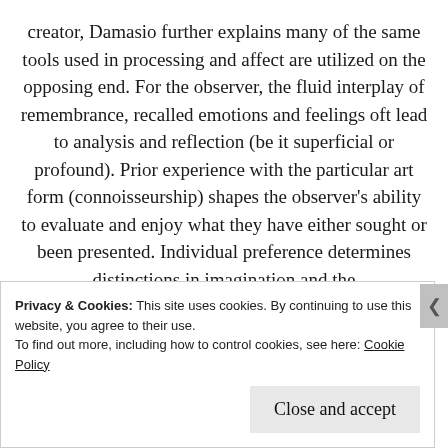creator, Damasio further explains many of the same tools used in processing and affect are utilized on the opposing end. For the observer, the fluid interplay of remembrance, recalled emotions and feelings oft lead to analysis and reflection (be it superficial or profound). Prior experience with the particular art form (connoisseurship) shapes the observer's ability to evaluate and enjoy what they have either sought or been presented. Individual preference determines distinctions in imagination and the breakdown/composition of elements in much the
Privacy & Cookies: This site uses cookies. By continuing to use this website, you agree to their use. To find out more, including how to control cookies, see here: Cookie Policy
Close and accept